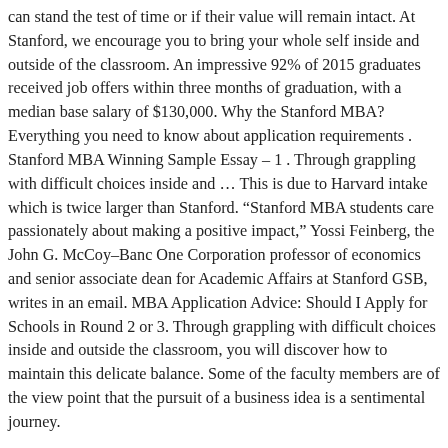can stand the test of time or if their value will remain intact. At Stanford, we encourage you to bring your whole self inside and outside of the classroom. An impressive 92% of 2015 graduates received job offers within three months of graduation, with a median base salary of $130,000. Why the Stanford MBA? Everything you need to know about application requirements . Stanford MBA Winning Sample Essay – 1 . Through grappling with difficult choices inside and … This is due to Harvard intake which is twice larger than Stanford. “Stanford MBA students care passionately about making a positive impact,” Yossi Feinberg, the John G. McCoy–Banc One Corporation professor of economics and senior associate dean for Academic Affairs at Stanford GSB, writes in an email. MBA Application Advice: Should I Apply for Schools in Round 2 or 3. Through grappling with difficult choices inside and outside the classroom, you will discover how to maintain this delicate balance. Some of the faculty members are of the view point that the pursuit of a business idea is a sentimental journey.